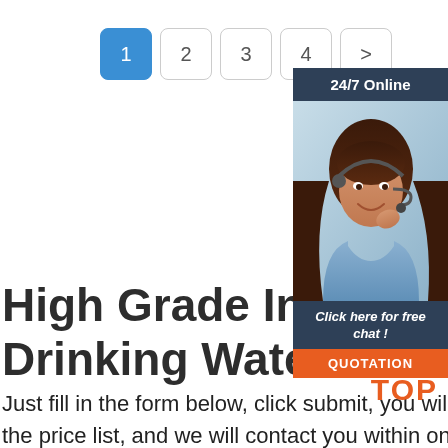[Figure (other): Pagination bar with buttons: 1 (active/blue), 2, 3, 4, >]
[Figure (other): 24/7 Online chat widget with photo of woman with headset, 'Click here for free chat!' text, and orange QUOTATION button]
High Grade Industrial Drinking Water Che...
Just fill in the form below, click submit, you will get the price list, and we will contact you within one working day. Please also feel free to contact us via
[Figure (logo): TOP logo in orange with dots above]